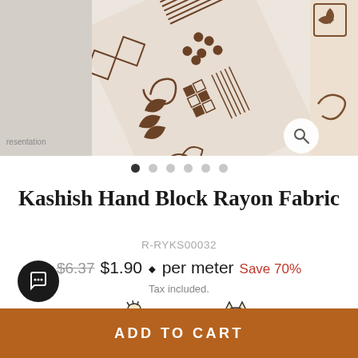[Figure (photo): Close-up photo of kashish hand block printed rayon fabric with dark brown geometric and floral patterns on beige/cream background, shown in a carousel with navigation dots. Left edge shows another image with text 'representation'. Right edge shows partial third image.]
Kashish Hand Block Rayon Fabric
R-RYKS00032
$6.37  $1.90 ⬥ per meter  Save 70%
Tax included.
[Figure (illustration): Two small icons: left icon shows a hand block printing tool pressing onto a surface; right icon shows folded fabric]
ADD TO CART